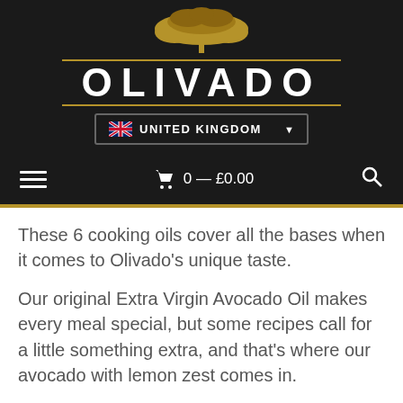OLIVADO
UNITED KINGDOM
0 — £0.00
These 6 cooking oils cover all the bases when it comes to Olivado's unique taste.
Our original Extra Virgin Avocado Oil makes every meal special, but some recipes call for a little something extra, and that's where our avocado with lemon zest comes in.
Sesame oil has also been used by many cultures